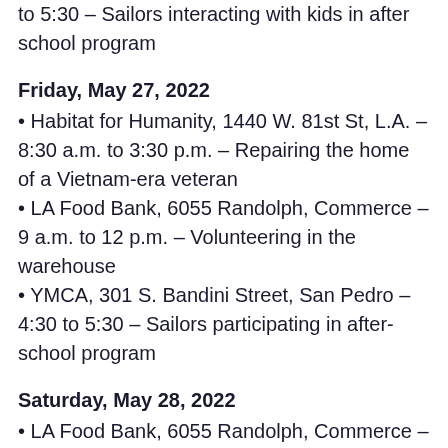to 5:30 – Sailors interacting with kids in after school program
Friday, May 27, 2022
• Habitat for Humanity, 1440 W. 81st St, L.A. – 8:30 a.m. to 3:30 p.m. – Repairing the home of a Vietnam-era veteran
• LA Food Bank, 6055 Randolph, Commerce – 9 a.m. to 12 p.m. – Volunteering in the warehouse
• YMCA, 301 S. Bandini Street, San Pedro – 4:30 to 5:30 – Sailors participating in after-school program
Saturday, May 28, 2022
• LA Food Bank, 6055 Randolph, Commerce – 9 a.m. to 12 p.m. – Volunteering in the warehouse
• Green Hills Memorial Park, 27501 S Western Ave, Rancho Palos Verdes – 8:45 a.m. to 11:30